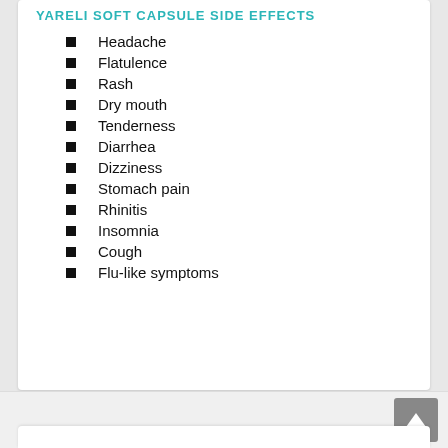YARELI SOFT CAPSULE SIDE EFFECTS
Headache
Flatulence
Rash
Dry mouth
Tenderness
Diarrhea
Dizziness
Stomach pain
Rhinitis
Insomnia
Cough
Flu-like symptoms